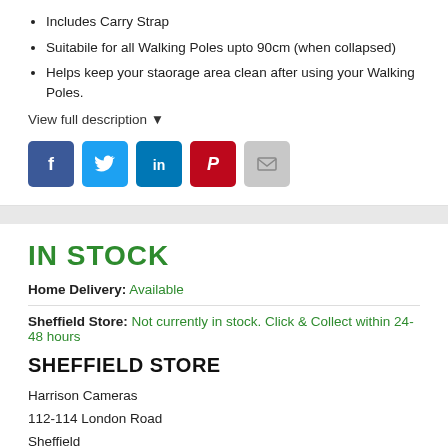Includes Carry Strap
Suitabile for all Walking Poles upto 90cm (when collapsed)
Helps keep your staorage area clean after using your Walking Poles.
View full description ▾
[Figure (other): Social share buttons: Facebook, Twitter, LinkedIn, Pinterest, Email]
IN STOCK
Home Delivery: Available
Sheffield Store: Not currently in stock. Click & Collect within 24-48 hours
SHEFFIELD STORE
Harrison Cameras
112-114 London Road
Sheffield